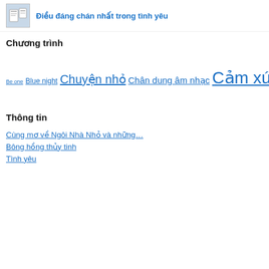Điều đáng chán nhất trong tình yêu
Chương trình
Be one Blue night Chuyện nhỏ Chân dung âm nhạc Cảm xúc cuộc sống Cầu thủy tinh FRESH Giai điệu thời gian Green Radio Show Kết nối yêu thương Love full Lời của Gió Quick Snow Show Sách khuya Sách và Tôi Tôi Trong Tôi Vườn thơ Đọc sách thế kỷ 21
Thông tin
Cùng mơ về Ngôi Nhà Nhỏ và những…
Bông hồng thủy tinh
Tình yêu